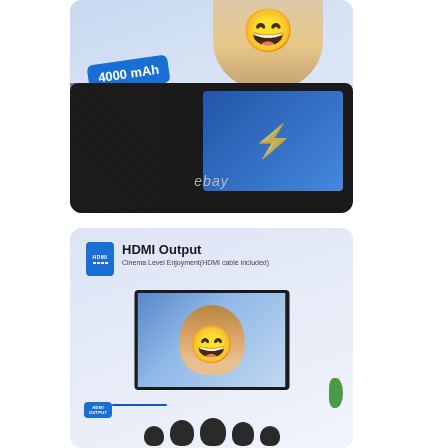[Figure (photo): Product photo of a portable DVD player showing a child laughing on screen, with a blue badge reading '4000 mAh' and an eBay watermark at the bottom.]
[Figure (photo): Product infographic image showing HDMI Output feature with HDMI icon, text 'HDMI Output - Cinema Level Enjoyment (HDMI cable included)', a TV screen displaying a laughing child, an HDMI OUTPUT badge, and silhouettes of people watching from below.]